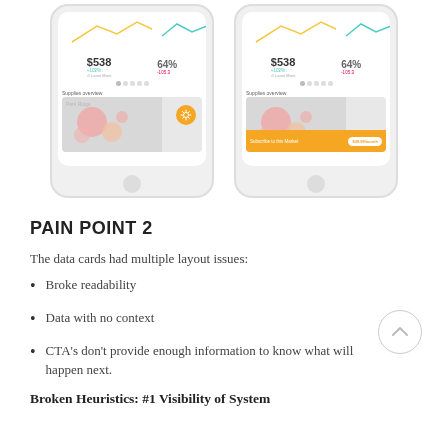[Figure (screenshot): Two mobile phone mockups showing data cards with stats ($538, 64%) and charts, the left one showing a settings gear icon overlay on a map card labeled 'Park Ridge', the right one showing a yellow subscribe bar reading 'Subscribe to this Market $39.99/month']
PAIN POINT 2
The data cards had multiple layout issues:
Broke readability
Data with no context
CTA’s don’t provide enough information to know what will happen next.
Broken Heuristics: #1 Visibility of System